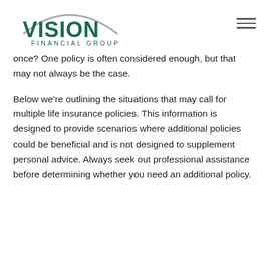[Figure (logo): Vision Financial Group logo with arc graphic above text]
once? One policy is often considered enough, but that may not always be the case.
Below we’re outlining the situations that may call for multiple life insurance policies. This information is designed to provide scenarios where additional policies could be beneficial and is not designed to supplement personal advice. Always seek out professional assistance before determining whether you need an additional policy.